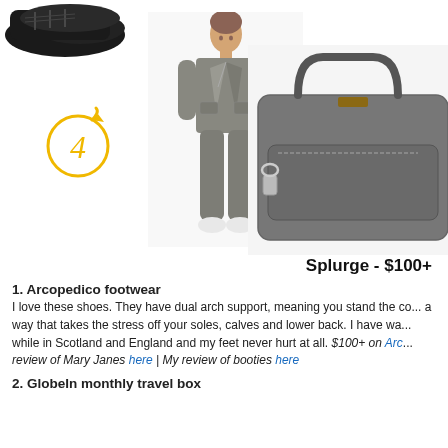[Figure (photo): Partial view of black Arcopedico shoes at top left, cropped]
[Figure (illustration): Circled number 4 with yellow arrow, indicating item 4]
[Figure (photo): Woman wearing grey jacket and pants outfit (item 4)]
[Figure (illustration): Circled number 5 with yellow arrow, indicating item 5]
[Figure (photo): Grey travel bag/luggage (item 5), partially cropped on right]
Splurge - $100+
1. Arcopedico footwear
I love these shoes. They have dual arch support, meaning you stand the co... a way that takes the stress off your soles, calves and lower back. I have wa... while in Scotland and England and my feet never hurt at all. $100+ on Arc... review of Mary Janes here | My review of booties here
2. GlobeIn monthly travel box